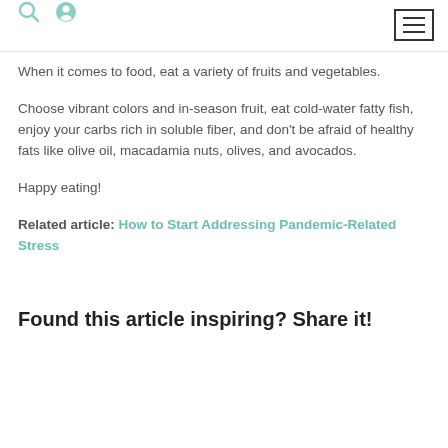[search icon] [user icon] [menu button]
When it comes to food, eat a variety of fruits and vegetables.
Choose vibrant colors and in-season fruit, eat cold-water fatty fish, enjoy your carbs rich in soluble fiber, and don't be afraid of healthy fats like olive oil, macadamia nuts, olives, and avocados.
Happy eating!
Related article: How to Start Addressing Pandemic-Related Stress
Found this article inspiring? Share it!